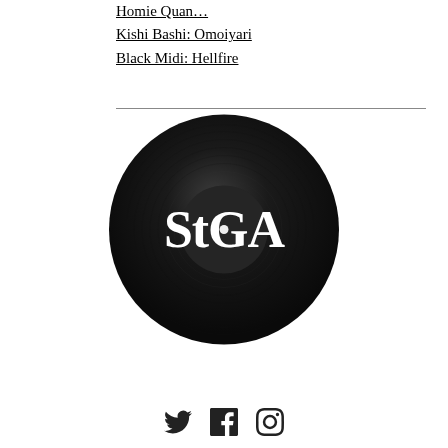Homie Quan…
Kishi Bashi: Omoiyari
Black Midi: Hellfire
[Figure (logo): StGA vinyl record logo — a dark/black vinyl record with the text 'StGA' in white serif lettering centered on it]
[Figure (infographic): Social media icons: Twitter bird, Facebook f, Instagram camera]